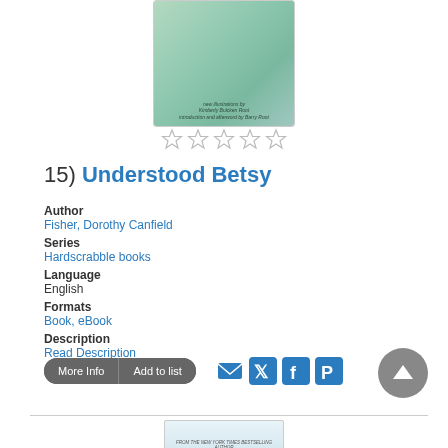[Figure (photo): Book cover for Understood Betsy with illustrated children scene on mint green background]
[Figure (other): Five empty star rating icons in a row]
15) Understood Betsy
Author
Fisher, Dorothy Canfield
Series
Hardscrabble books
Language
English
Formats
Book, eBook
Description
Read Description
[Figure (screenshot): More Info and Add to list buttons with social share icons (email, Twitter, Facebook, Pinterest) and scroll-to-top arrow button]
[Figure (photo): Bottom portion of next book cover showing Victoria Aveyard as author]